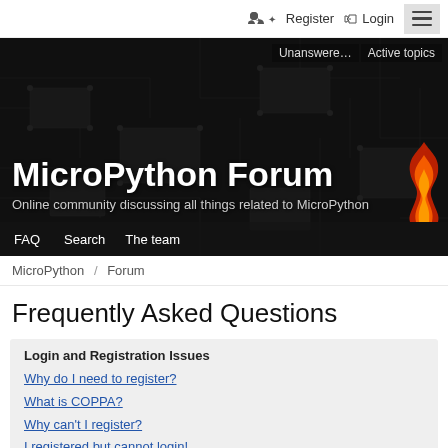Register  Login
[Figure (screenshot): MicroPython Forum hero banner with circuit board background, showing site title 'MicroPython Forum' and subtitle 'Online community discussing all things related to MicroPython', with navigation links Unanswere..., Active topics, FAQ, Search, The team]
MicroPython / Forum
Frequently Asked Questions
Login and Registration Issues
Why do I need to register?
What is COPPA?
Why can't I register?
I registered but cannot login!
Why can't I login?
I registered in the past but cannot login anymore!